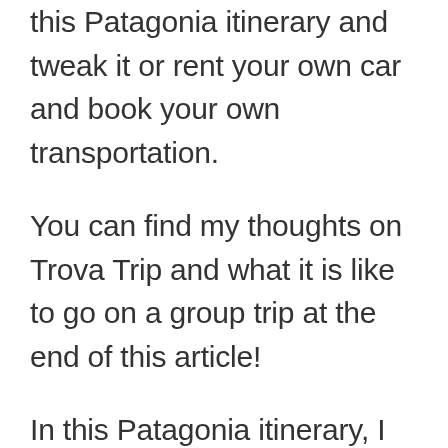this Patagonia itinerary and tweak it or rent your own car and book your own transportation.
You can find my thoughts on Trova Trip and what it is like to go on a group trip at the end of this article!
In this Patagonia itinerary, I will also give you some fun stories about my time and adventure getting to Patagonia itself.